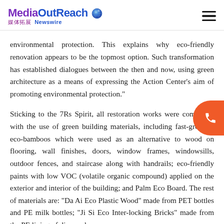MediaOutReach 媒体拓展 Newswire
environmental protection. This explains why eco-friendly renovation appears to be the topmost option. Such transformation has established dialogues between the then and now, using green architecture as a means of expressing the Action Center's aim of promoting environmental protection."
Sticking to the 7Rs Spirit, all restoration works were completed with the use of green building materials, including fast-growing eco-bamboos which were used as an alternative to wood on flooring, wall finishes, doors, window frames, windowsills, outdoor fences, and staircase along with handrails; eco-friendly paints with low VOC (volatile organic compound) applied on the exterior and interior of the building; and Palm Eco Board. The rest of materials are: "Da Ai Eco Plastic Wood" made from PET bottles and PE milk bottles; "Ji Si Eco Inter-locking Bricks" made from the PE lining of disposed...